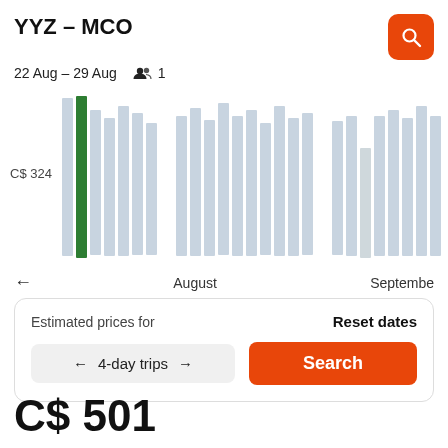YYZ – MCO
22 Aug – 29 Aug   👥 1
[Figure (bar-chart): Bar chart showing flight prices across August and September dates. One tall green bar on the left (highlighted selected date), remaining bars in light blue/grey shades at various heights. A short lighter bar near the right side.]
CS 324
← August   September
Estimated prices for
Reset dates
← 4-day trips →
Search
C$ 501